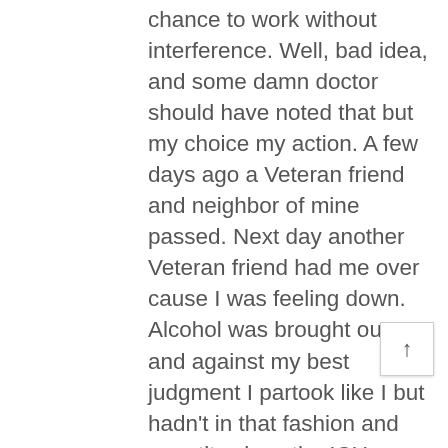chance to work without interference. Well, bad idea, and some damn doctor should have noted that but my choice my action. A few days ago a Veteran friend and neighbor of mine passed. Next day another Veteran friend had me over cause I was feeling down. Alcohol was brought out and against my best judgment I partook like I but hadn't in that fashion and quantity since the ICU. Result another trip to the ICU down about a pint and a half of blood. I now have 27 staples from my eyebrow up to my bald spot on the top back of my head. Staples, because i wouldn't let them use stitches or pain meds because i want a reminder everyday of how low i have been. So things have been pretty sad to